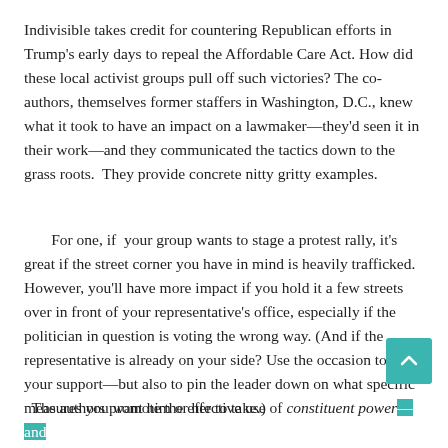Indivisible takes credit for countering Republican efforts in Trump's early days to repeal the Affordable Care Act. How did these local activist groups pull off such victories? The co-authors, themselves former staffers in Washington, D.C., knew what it took to have an impact on a lawmaker—they'd seen it in their work—and they communicated the tactics down to the grass roots.  They provide concrete nitty gritty examples.
For one, if  your group wants to stage a protest rally, it's great if the street corner you have in mind is heavily trafficked. However, you'll have more impact if you hold it a few streets over in front of your representative's office, especially if the politician in question is voting the wrong way. (And if the representative is already on your side? Use the occasion to show your support—but also to pin the leader down on what specific measures you want him or her to take.)
The authors promote the effective use of constituent power—and they clarify the limits of it. Ever wonder what congressional staffers